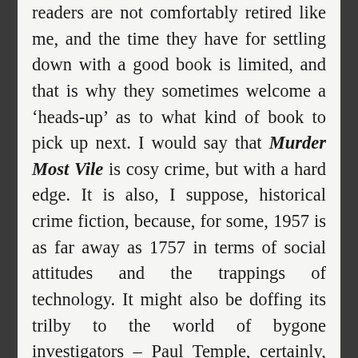readers are not comfortably retired like me, and the time they have for settling down with a good book is limited, and that is why they sometimes welcome a 'heads-up' as to what kind of book to pick up next. I would say that Murder Most Vile is cosy crime, but with a hard edge. It is also, I suppose, historical crime fiction, because, for some, 1957 is as far away as 1757 in terms of social attitudes and the trappings of technology. It might also be doffing its trilby to the world of bygone investigators – Paul Temple, certainly, with maybe just a hint of Bulldog Drummond. We have dead bodies, escapes from dungeons, powerful embittered and influential old men and – essential to all private investigators – friends in the police force. The bottom line, however, is that this is cleverly written by Eric Brown, and is well worth a few hours of anyone's time. Murder